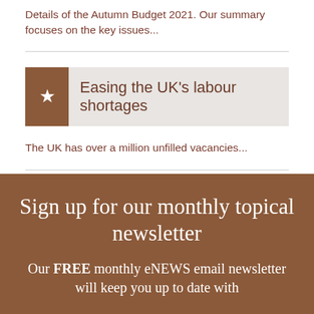Details of the Autumn Budget 2021. Our summary focuses on the key issues...
Easing the UK's labour shortages
The UK has over a million unfilled vacancies...
Sign up for our monthly topical newsletter
Our FREE monthly eNEWS email newsletter will keep you up to date with